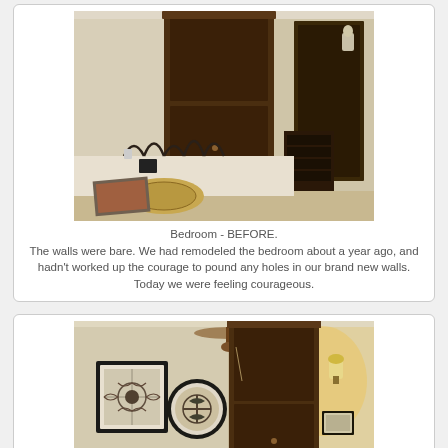[Figure (photo): Bedroom BEFORE photo showing bare cream-colored walls, a large dark wood armoire/wardrobe, a bed with wrought iron headboard, a small chest of drawers, and various items on the floor including a round ornamental piece and framed art.]
Bedroom - BEFORE.
The walls were bare. We had remodeled the bedroom about a year ago, and hadn't worked up the courage to pound any holes in our brand new walls. Today we were feeling courageous.
[Figure (photo): Bedroom AFTER photo showing the same room with artwork now hung on the walls: a square framed piece with floral/scroll design, an oval/round framed piece with compass-like design, and a small rectangular frame near the wardrobe. The room is warmly lit with a ceiling fan and wall sconce visible.]